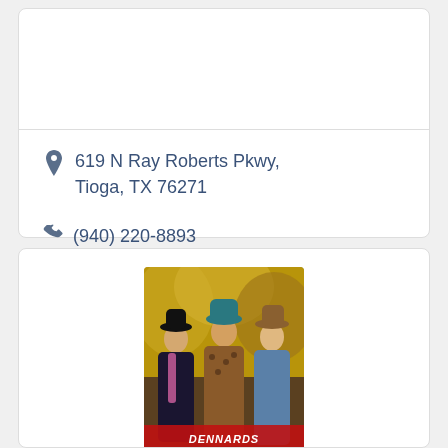619 N Ray Roberts Pkwy, Tioga, TX 76271
(940) 220-8893
[Figure (photo): Three women wearing cowboy hats posing outdoors with autumn leaves in the background. Bottom of image shows a red Dennards logo/banner with store name text.]
Dennards Farm & Western Wear